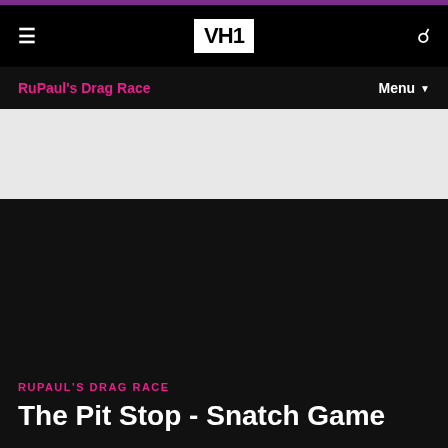VH1
RuPaul's Drag Race
Menu
[Figure (screenshot): Dark black area showing a video thumbnail placeholder for The Pit Stop - Snatch Game episode on VH1 RuPaul's Drag Race]
RUPAUL'S DRAG RACE
The Pit Stop - Snatch Game